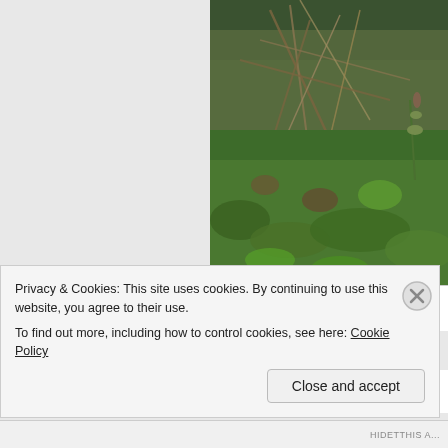[Figure (photo): Close-up photograph of Lesser Twayblade (Neottia cordata) plant growing among heather on damp moorland. Green vegetation with some dried grass stems visible.]
The Lesser Twayblade (Neottia cordata) is... heather on damp moorland...
From there, we struck out across the bo... Trust reserve that holds Wales' last relia... ida...
Privacy & Cookies: This site uses cookies. By continuing to use this website, you agree to their use.
To find out more, including how to control cookies, see here: Cookie Policy